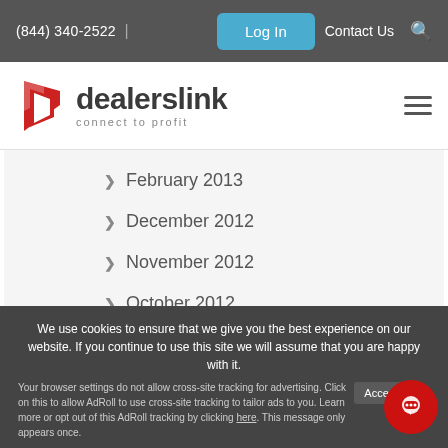(844) 340-2522  |  Log In  Contact Us
[Figure (logo): Dealerslink logo with red stylized D icon and tagline 'connect to profit']
February 2013
December 2012
November 2012
October 2012
June 2012
April 2012
We use cookies to ensure that we give you the best experience on our website. If you continue to use this site we will assume that you are happy with it.
Your browser settings do not allow cross-site tracking for advertising. Click on this to allow AdRoll to use cross-site tracking to tailor ads to you. Learn more or opt out of this AdRoll tracking by clicking here. This message only appears once.